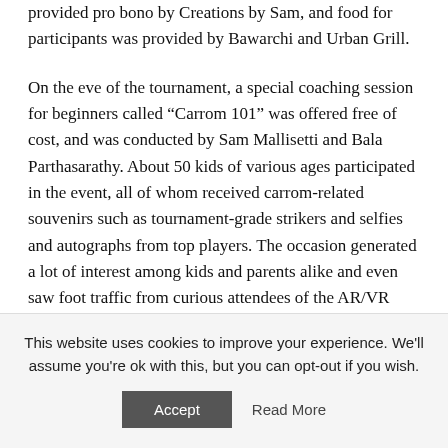provided pro bono by Creations by Sam, and food for participants was provided by Bawarchi and Urban Grill.
On the eve of the tournament, a special coaching session for beginners called “Carrom 101” was offered free of cost, and was conducted by Sam Mallisetti and Bala Parthasarathy. About 50 kids of various ages participated in the event, all of whom received carrom-related souvenirs such as tournament-grade strikers and selfies and autographs from top players. The occasion generated a lot of interest among kids and parents alike and even saw foot traffic from curious attendees of the AR/VR conference happening next door at the convention center. The Mayor of Santa Clara has reached out to USCA & BACA to explore initiating a youth carrom program in the
This website uses cookies to improve your experience. We'll assume you're ok with this, but you can opt-out if you wish.